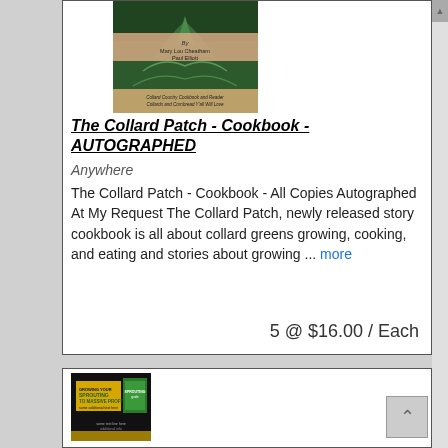[Figure (photo): Book cover of The Collard Patch cookbook showing a dark green plant on cover with text 'By Mary Lou Cheatham Paul Elliott' and subtitle 'Collard Country Cookbook and Reader Collards and Cornbread Y'all Will Love']
The Collard Patch - Cookbook - AUTOGRAPHED
Anywhere
The Collard Patch - Cookbook - All Copies Autographed At My Request The Collard Patch, newly released story cookbook is all about collard greens growing, cooking, and eating and stories about growing ... more
5 @ $16.00 / Each
[Figure (photo): Book cover showing a dark background with yellow and green text, appears to be a second cookbook about growing or farming]